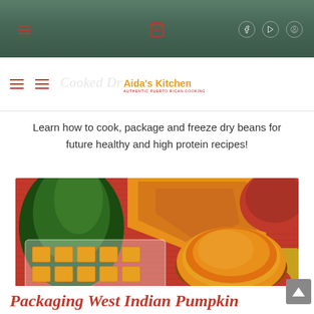[Figure (photo): Top banner image showing a dark cooking pot/soup on a decorative background]
Aida's Kitchen — Cooked Dry [navigation bar with hamburger menus and logo]
Learn how to cook, package and freeze dry beans for future healthy and high protein recipes!
[Figure (photo): Food photo showing West Indian pumpkin: a green squash, a slice of orange pumpkin, cubed pumpkin in a plastic bag, and pureed pumpkin in a round plastic container, arranged on a red ribbed surface with a decorative cloth]
Packaging West Indian Pumpkin